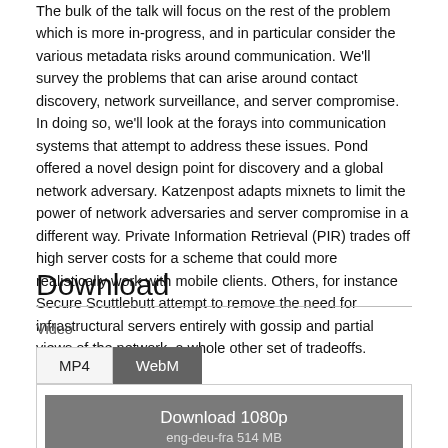The bulk of the talk will focus on the rest of the problem which is more in-progress, and in particular consider the various metadata risks around communication. We'll survey the problems that can arise around contact discovery, network surveillance, and server compromise. In doing so, we'll look at the forays into communication systems that attempt to address these issues. Pond offered a novel design point for discovery and a global network adversary. Katzenpost adapts mixnets to limit the power of network adversaries and server compromise in a different way. Private Information Retrieval (PIR) trades off high server costs for a scheme that could more realistically work with mobile clients. Others, for instance Secure Scuttlebutt attempt to remove the need for infrastructural servers entirely with gossip and partial views of the network, a whole other set of tradeoffs.
Download
Video
MP4
WebM
Download 1080p
eng-deu-fra 514 MB